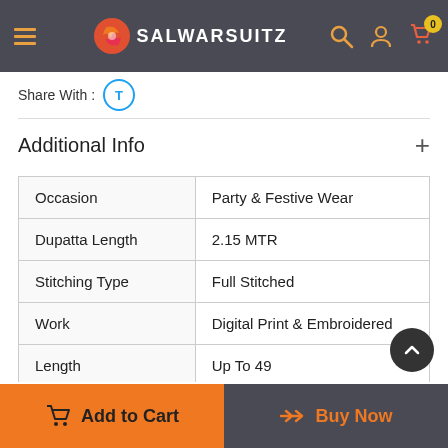[Figure (screenshot): Website header with hamburger menu, Salwarsuitz logo, search icon, user icon, and cart icon with badge showing 0]
Share With :
| Attribute | Value |
| --- | --- |
| Occasion | Party & Festive Wear |
| Dupatta Length | 2.15 MTR |
| Stitching Type | Full Stitched |
| Work | Digital Print & Embroidered |
| Length | Up To 49 |
| Fabric | Heavy Rayon |
Additional Info
Add to Cart
Buy Now